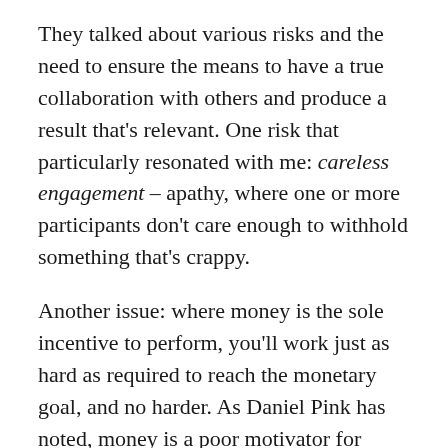They talked about various risks and the need to ensure the means to have a true collaboration with others and produce a result that's relevant. One risk that particularly resonated with me: careless engagement – apathy, where one or more participants don't care enough to withhold something that's crappy.
Another issue: where money is the sole incentive to perform, you'll work just as hard as required to reach the monetary goal, and no harder. As Daniel Pink has noted, money is a poor motivator for quality work.
Another risk: wasted neurons, where people spend an inordinate amount of time working